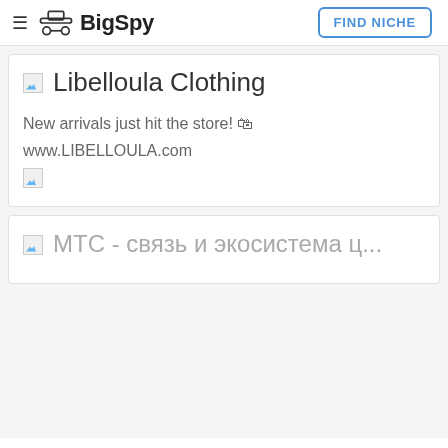BigSpy | FIND NICHE
Libelloula Clothing
New arrivals just hit the store! 🛍
www.LIBELLOULA.com
[Figure (photo): Broken image placeholder for Libelloula Clothing ad]
МТС - связь и экосистема ц...